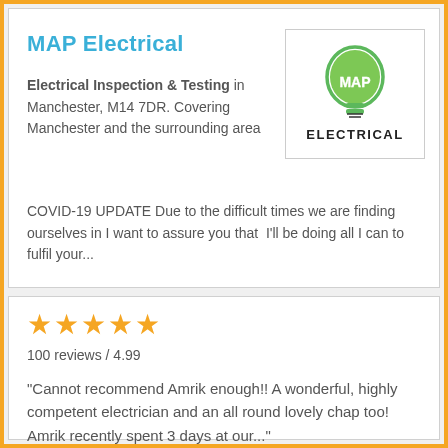MAP Electrical
Electrical Inspection & Testing in Manchester, M14 7DR. Covering Manchester and the surrounding area
[Figure (logo): MAP Electrical logo: green light bulb with MAP text inside, ELECTRICAL written below in black]
COVID-19 UPDATE Due to the difficult times we are finding ourselves in I want to assure you that I'll be doing all I can to fulfil your...
★★★★★ 100 reviews / 4.99
"Cannot recommend Amrik enough!! A wonderful, highly competent electrician and an all round lovely chap too! Amrik recently spent 3 days at our..."